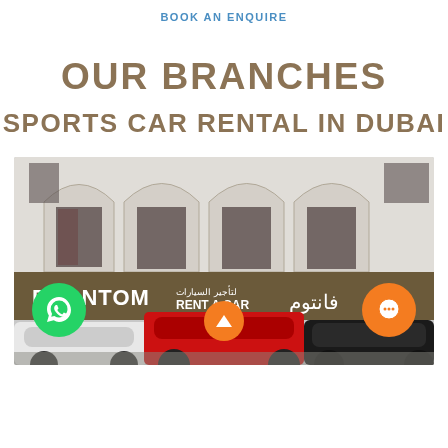BOOK AN ENQUIRE
OUR BRANCHES
SPORTS CAR RENTAL IN DUBAI
[Figure (photo): Exterior photo of Phantom Rent A Car showroom in Dubai with Arabian arch architecture, showing sports cars parked in front including a red Ferrari, white Audi, and black Rolls-Royce. The storefront has a sign reading PHANTOM Rent A Car in English and Arabic (فانتوم لتأجير السيارات). Floating buttons visible: green WhatsApp button, orange scroll-up button, and orange chat button.]